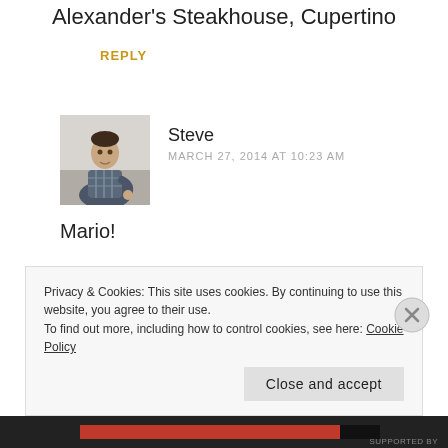Alexander's Steakhouse, Cupertino
REPLY
Steve
MARCH 27, 2014 AT 10:23 AM
[Figure (photo): Avatar photo of Steve, a man in a plaid shirt sitting]
Mario!

Wow! That is incredibly generous of you and I'm just blown away! When I can go back to eating steak again,
Privacy & Cookies: This site uses cookies. By continuing to use this website, you agree to their use.
To find out more, including how to control cookies, see here: Cookie Policy
Close and accept